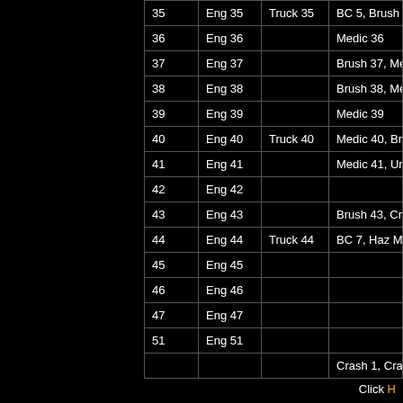| Station | Engine | Truck | Also Assigned |
| --- | --- | --- | --- |
| 35 | Eng 35 | Truck 35 | BC 5, Brush 35, Chem |
| 36 | Eng 36 |  | Medic 36 |
| 37 | Eng 37 |  | Brush 37, Medic 37 |
| 38 | Eng 38 |  | Brush 38, Medic 38 |
| 39 | Eng 39 |  | Medic 39 |
| 40 | Eng 40 | Truck 40 | Medic 40, Brush 40, Water Tender |
| 41 | Eng 41 |  | Medic 41, Urban Search & Rescue |
| 42 | Eng 42 |  |  |
| 43 | Eng 43 |  | Brush 43, Crash Unit |
| 44 | Eng 44 | Truck 44 | BC 7, Haz Mat Units |
| 45 | Eng 45 |  |  |
| 46 | Eng 46 |  |  |
| 47 | Eng 47 |  |  |
| 51 | Eng 51 |  |  |
|  |  |  | Crash 1, Crash 2, Crash 3, Crash... |
Click H